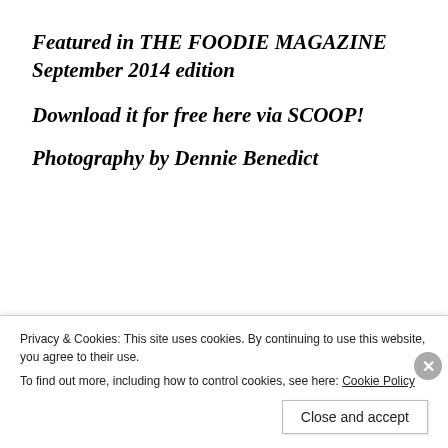Featured in THE FOODIE MAGAZINE September 2014 edition
Download it for free here via SCOOP!
Photography by Dennie Benedict
Rate this:
Privacy & Cookies: This site uses cookies. By continuing to use this website, you agree to their use.
To find out more, including how to control cookies, see here: Cookie Policy
Close and accept